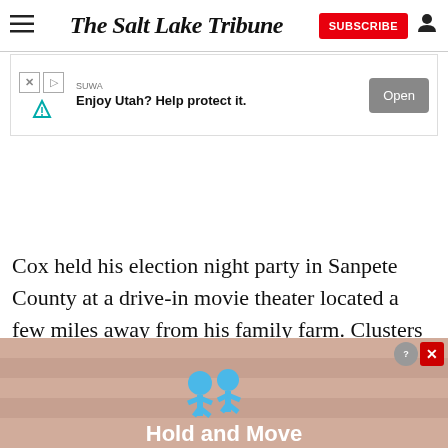The Salt Lake Tribune | SUBSCRIBE
[Figure (screenshot): Advertisement banner: SUWA 'Enjoy Utah? Help protect it.' with Open button]
Cox held his election night party in Sanpete County at a drive-in movie theater located a few miles away from his family farm. Clusters of green and yellow balloons marked the turnoff for the theater, along with a sign th
[Figure (screenshot): Bottom advertisement banner showing blue figures and 'Hold and Move' text with close buttons]